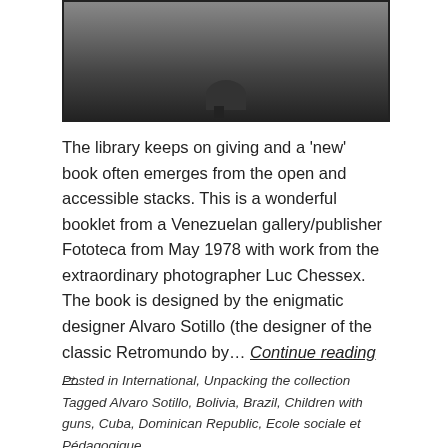[Figure (photo): Black and white photograph showing a person crouching or bending down on grass, viewed from above. Dark border around the image.]
The library keeps on giving and a 'new' book often emerges from the open and accessible stacks. This is a wonderful booklet from a Venezuelan gallery/publisher Fototeca from May 1978 with work from the extraordinary photographer Luc Chessex. The book is designed by the enigmatic designer Alvaro Sotillo (the designer of the classic Retromundo by… Continue reading →
Posted in International, Unpacking the collection
Tagged Alvaro Sotillo, Bolivia, Brazil, Children with guns, Cuba, Dominican Republic, Ecole sociale et Pédagogique,